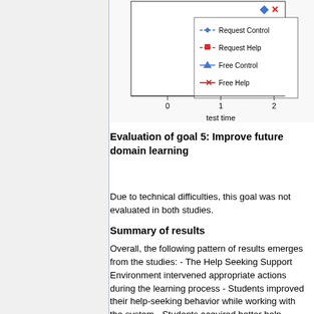[Figure (line-chart): Partial line chart showing legend with four series: Request Control (blue dashed diamond), Request Help (red dashed square), Free Control (blue solid triangle), Free Help (red solid X). X-axis shows values 0, 1, 2 labeled 'test time'.]
Evaluation of goal 5: Improve future domain learning
Due to technical difficulties, this goal was not evaluated in both studies.
Summary of results
Overall, the following pattern of results emerges from the studies: - The Help Seeking Support Environment intervened appropriate actions during the learning process - Students improved their help-seeking behavior while working with the system - Students acquired better help-seeking declarative